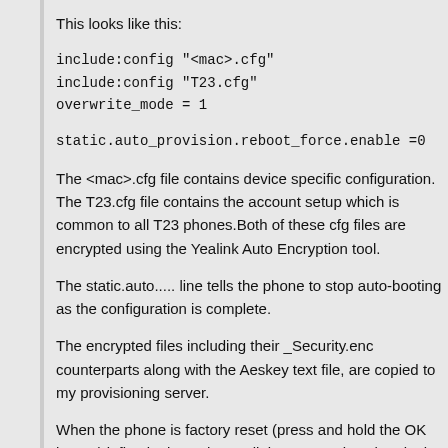This looks like this:
include:config "<mac>.cfg"
include:config "T23.cfg"
overwrite_mode = 1
static.auto_provision.reboot_force.enable =0
The <mac>.cfg file contains device specific configuration.
The T23.cfg file contains the account setup which is common to all T23 phones.Both of these cfg files are encrypted using the Yealink Auto Encryption tool.
The static.auto..... line tells the phone to stop auto-booting as the configuration is complete.
The encrypted files including their _Security.enc counterparts along with the Aeskey text file, are copied to my provisioning server.
When the phone is factory reset (press and hold the OK button) it first looks at the Yealink RPS service, then looks up the provisioning URL I saved there, and loads the arp.cfg file.